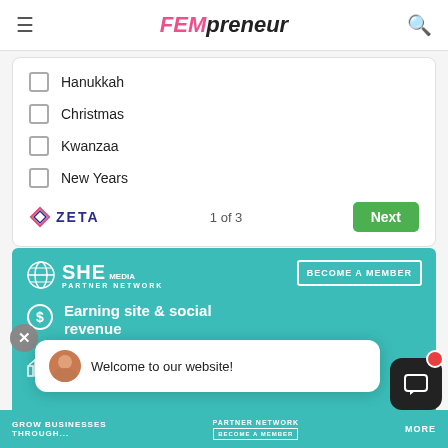FEMpreneur
Hanukkah
Christmas
Kwanzaa
New Years
ZETA   1 of 3   Next
[Figure (infographic): SHE Media Partner Network advertisement with teal background. Shows 'BECOME A MEMBER' button, dollar sign icon with 'Earning site & social revenue', and bar chart icon with 'Traffic growth']
Welcome to our website!
GROW BUSINESSES THROUGH... PARTNER NETWORK BECOME A MEMBER MORE